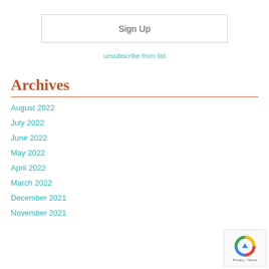Sign Up
unsubscribe from list
Archives
August 2022
July 2022
June 2022
May 2022
April 2022
March 2022
December 2021
November 2021